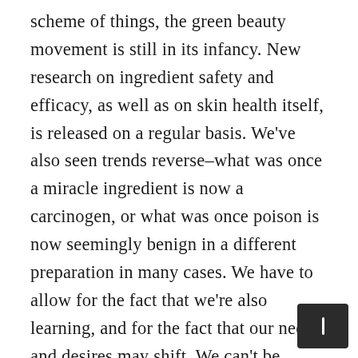scheme of things, the green beauty movement is still in its infancy. New research on ingredient safety and efficacy, as well as on skin health itself, is released on a regular basis. We've also seen trends reverse–what was once a miracle ingredient is now a carcinogen, or what was once poison is now seemingly benign in a different preparation in many cases. We have to allow for the fact that we're also learning, and for the fact that our needs and desires may shift. We can't be afraid to change our opinion after new information